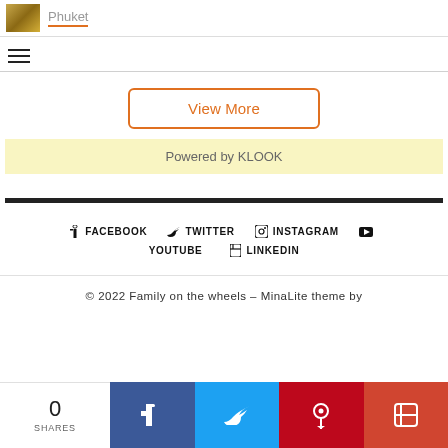[Figure (photo): Thumbnail image with golden tones]
Phuket
[Figure (other): Hamburger menu icon (three horizontal lines)]
View More
Powered by KLOOK
FACEBOOK  TWITTER  INSTAGRAM  YOUTUBE  LINKEDIN
© 2022 Family on the wheels – MinaLite theme by
0 SHARES